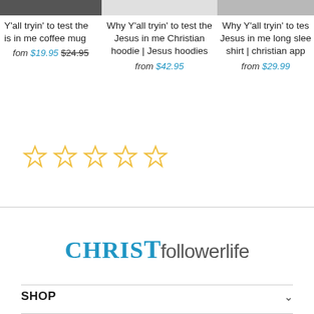[Figure (photo): Partial product image - coffee mug, top cropped]
[Figure (photo): Partial product image - Christian hoodie, top cropped]
[Figure (photo): Partial product image - long sleeve shirt, top cropped]
Y'all tryin' to test the is in me coffee mug
from $19.95 $24.95
Why Y'all tryin' to test the Jesus in me Christian hoodie | Jesus hoodies
from $42.95
Why Y'all tryin' to tes Jesus in me long slee shirt | christian app
from $29.99
[Figure (other): 5 empty star rating icons in yellow outline]
[Figure (logo): CHRISTfollowerlife logo]
SHOP